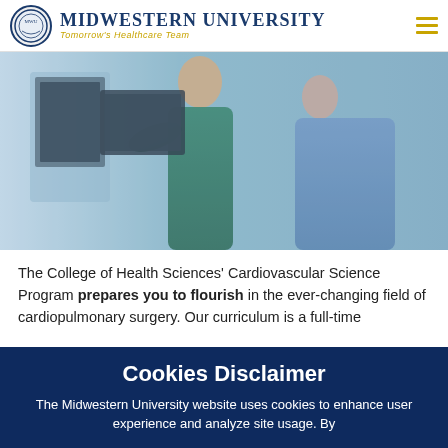Midwestern University – Tomorrow's Healthcare Team
[Figure (photo): Two healthcare professionals in scrubs reviewing a medical image on a monitor in a clinical setting.]
The College of Health Sciences' Cardiovascular Science Program prepares you to flourish in the ever-changing field of cardiopulmonary surgery. Our curriculum is a full-time
Cookies Disclaimer
The Midwestern University website uses cookies to enhance user experience and analyze site usage. By